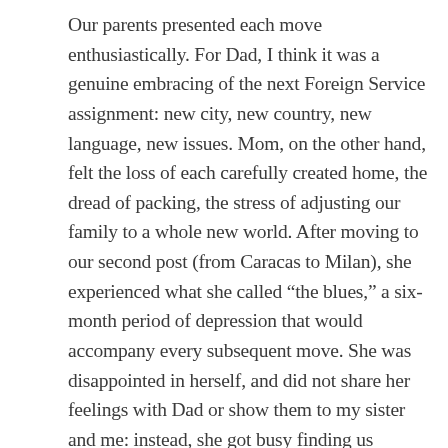Our parents presented each move enthusiastically. For Dad, I think it was a genuine embracing of the next Foreign Service assignment: new city, new country, new language, new issues. Mom, on the other hand, felt the loss of each carefully created home, the dread of packing, the stress of adjusting our family to a whole new world. After moving to our second post (from Caracas to Milan), she experienced what she called “the blues,” a six-month period of depression that would accompany every subsequent move. She was disappointed in herself, and did not share her feelings with Dad or show them to my sister and me: instead, she got busy finding us schools; hiring maids; learning to navigate in a new town, new country, new language; doing what Dad and the Embassy expected of her.

Mom’s sacrifice allowed my Dad, my sister and me to